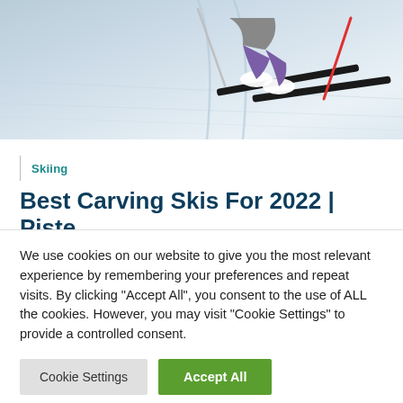[Figure (photo): Skier carving on a snowy slope, viewed from above/behind, wearing purple pants, with ski tracks visible in the snow]
Skiing
Best Carving Skis For 2022 | Piste
We use cookies on our website to give you the most relevant experience by remembering your preferences and repeat visits. By clicking "Accept All", you consent to the use of ALL the cookies. However, you may visit "Cookie Settings" to provide a controlled consent.